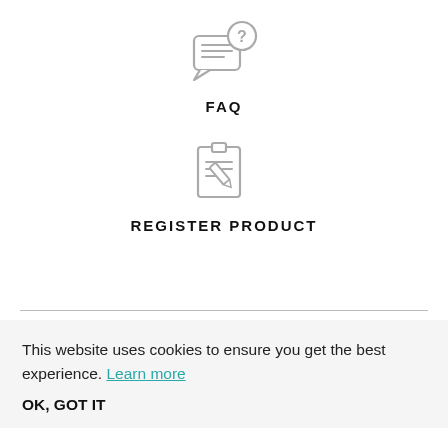[Figure (illustration): FAQ icon: speech bubble with question mark and lines, grey outline style]
FAQ
[Figure (illustration): Register product icon: clipboard with lines and a pen/pencil, grey outline style]
REGISTER PRODUCT
This website uses cookies to ensure you get the best experience. Learn more
OK, GOT IT